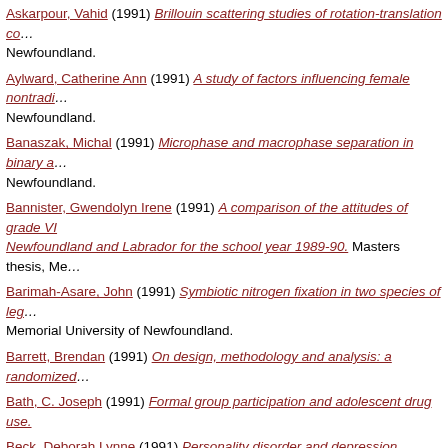Askarpour, Vahid (1991) Brillouin scattering studies of rotation-translation co... Newfoundland.
Aylward, Catherine Ann (1991) A study of factors influencing female nontradi... Newfoundland.
Banaszak, Michal (1991) Microphase and macrophase separation in binary a... Newfoundland.
Bannister, Gwendolyn Irene (1991) A comparison of the attitudes of grade VI... Newfoundland and Labrador for the school year 1989-90. Masters thesis, Me...
Barimah-Asare, John (1991) Symbiotic nitrogen fixation in two species of leg... Memorial University of Newfoundland.
Barrett, Brendan (1991) On design, methodology and analysis: a randomized...
Bath, C. Joseph (1991) Formal group participation and adolescent drug use.
Beck, Deborah Lynne (1991) Personality disorder and depression. Doctoral (...
Benham, Philip Henry (1991) Stratigraphy and palynology of cretaceous and... Memorial University of Newfoundland.
Bhattacharya, Dipankar (1991) Design and analysis of auto scaling pulsed a...
Bijaksana, Satria (1991) Magnetic anisotropy of Cretaceous deep sea sedim...
Brown, Sandra A. (1991) Testosterone masculinizes the development of the ... University of Newfoundland.
Brown, Janice Marie (1991) The paternal experience of parenting a child who...